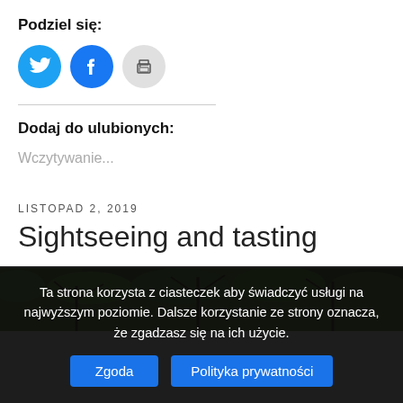Podziel się:
[Figure (other): Three social share icon buttons: Twitter (cyan circle), Facebook (blue circle), Print (light gray circle)]
Dodaj do ulubionych:
Wczytywanie...
LISTOPAD 2, 2019
Sightseeing and tasting
[Figure (photo): Top portion of a photo showing green tree foliage against a light sky]
Ta strona korzysta z ciasteczek aby świadczyć usługi na najwyższym poziomie. Dalsze korzystanie ze strony oznacza, że zgadzasz się na ich użycie.
Zgoda | Polityka prywatności